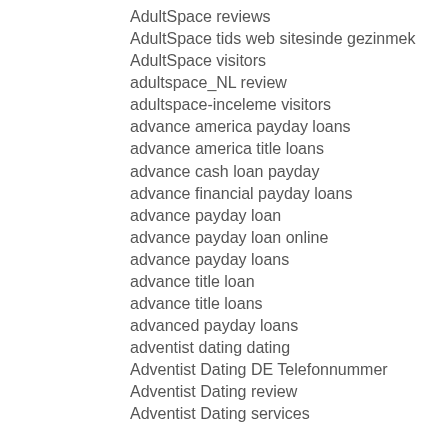AdultSpace reviews
AdultSpace tids web sitesinde gezinmek
AdultSpace visitors
adultspace_NL review
adultspace-inceleme visitors
advance america payday loans
advance america title loans
advance cash loan payday
advance financial payday loans
advance payday loan
advance payday loan online
advance payday loans
advance title loan
advance title loans
advanced payday loans
adventist dating dating
Adventist Dating DE Telefonnummer
Adventist Dating review
Adventist Dating services